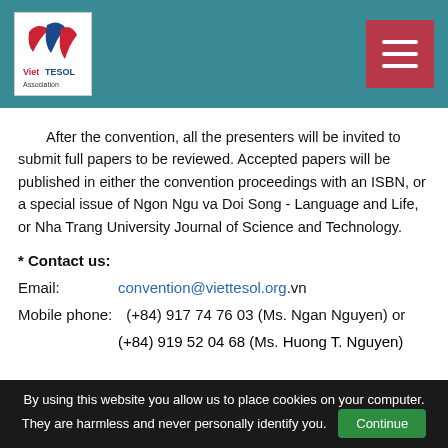VietTESOL Association header with logo and hamburger menu
After the convention, all the presenters will be invited to submit full papers to be reviewed. Accepted papers will be published in either the convention proceedings with an ISBN, or a special issue of Ngon Ngu va Doi Song - Language and Life, or Nha Trang University Journal of Science and Technology.
* Contact us:
Email: convention@viettesol.org.vn
Mobile phone: (+84) 917 74 76 03 (Ms. Ngan Nguyen) or
(+84) 919 52 04 68 (Ms. Huong T. Nguyen)
By using this website you allow us to place cookies on your computer. They are harmless and never personally identify you. Continue